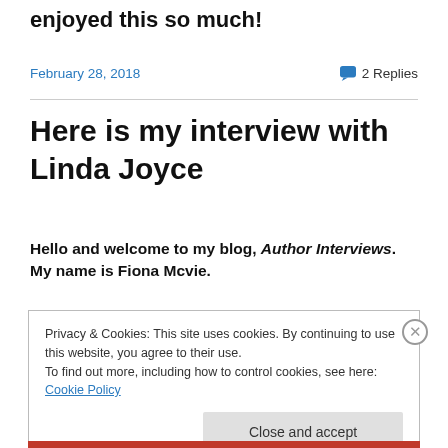enjoyed this so much!
February 28, 2018    💬 2 Replies
Here is my interview with Linda Joyce
Hello and welcome to my blog, Author Interviews. My name is Fiona Mcvie.
Privacy & Cookies: This site uses cookies. By continuing to use this website, you agree to their use.
To find out more, including how to control cookies, see here: Cookie Policy
Close and accept